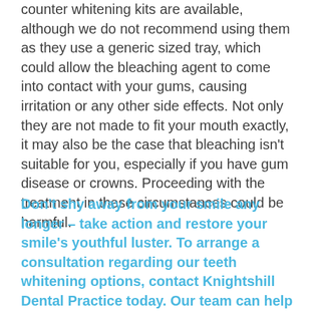counter whitening kits are available, although we do not recommend using them as they use a generic sized tray, which could allow the bleaching agent to come into contact with your gums, causing irritation or any other side effects. Not only they are not made to fit your mouth exactly, it may also be the case that bleaching isn't suitable for you, especially if you have gum disease or crowns. Proceeding with the treatment in these circumstances could be harmful.
Don't shy away from your smile any longer – take action and restore your smile's youthful luster. To arrange a consultation regarding our teeth whitening options, contact Knightshill Dental Practice today. Our team can help you realise your dream of having a beautiful, bright white smile.